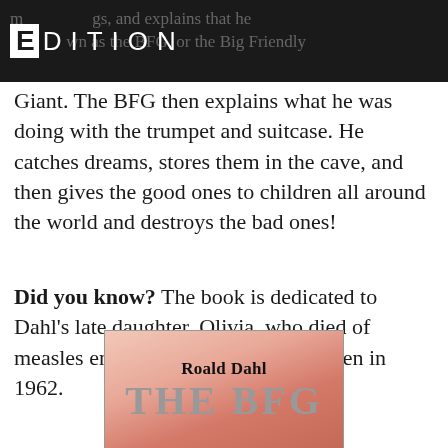EDITION — ...and explains that he was known as the BFG, or the Big Friendly
Giant. The BFG then explains what he was doing with the trumpet and suitcase. He catches dreams, stores them in the cave, and then gives the good ones to children all around the world and destroys the bad ones!
Did you know? The book is dedicated to Dahl's late daughter, Olivia, who died of measles encephalitis at the age of seven in 1962.
[Figure (photo): Book cover of 'The BFG' by Roald Dahl, showing the title in large grey letters with the author's name above on a pinkish-red background.]